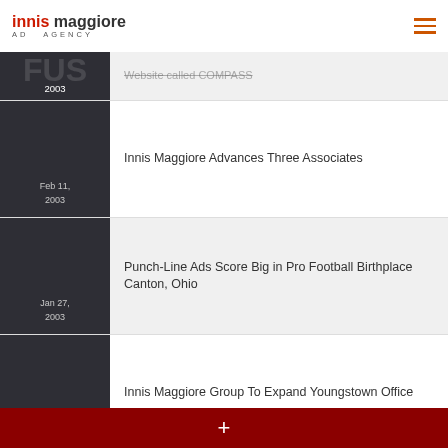Innis Maggiore AD AGENCY
Community Partnership Committee Announces Plans for a Community Build... Website called COMPASS
Feb 11, 2003 — Innis Maggiore Advances Three Associates
Jan 27, 2003 — Punch-Line Ads Score Big in Pro Football Birthplace Canton, Ohio
Dec 31, — Innis Maggiore Group To Expand Youngstown Office